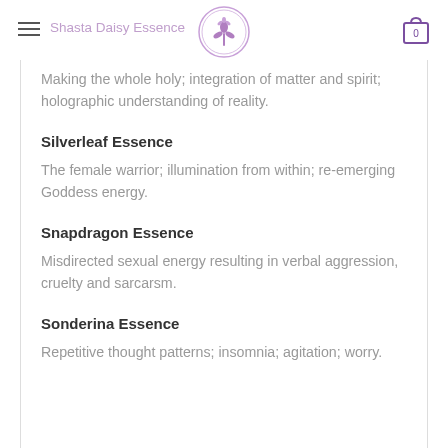Shasta Daisy Essence
Making the whole holy; integration of matter and spirit; holographic understanding of reality.
Silverleaf Essence
The female warrior; illumination from within; re-emerging Goddess energy.
Snapdragon Essence
Misdirected sexual energy resulting in verbal aggression, cruelty and sarcarsm.
Sonderina Essence
Repetitive thought patterns; insomnia; agitation; worry.